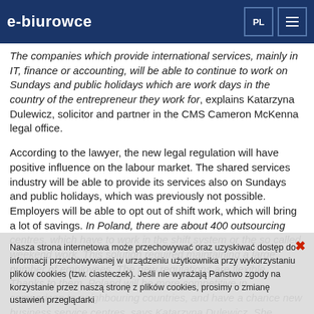e-biurowce
The companies which provide international services, mainly in IT, finance or accounting, will be able to continue to work on Sundays and public holidays which are work days in the country of the entrepreneur they work for, explains Katarzyna Dulewicz, solicitor and partner in the CMS Cameron McKenna legal office.
According to the lawyer, the new legal regulation will have positive influence on the labour market. The shared services industry will be able to provide its services also on Sundays and public holidays, which was previously not possible. Employers will be able to opt out of shift work, which will bring a lot of savings. In Poland, there are about 400 outsourcing centres, which have to work in the shift system or the so called weekend work. This solution required maintaining a large number of employees. The new regulations are flexible. Thanks to them, Poland will be more competitive in comparison to neighbouring countries, and have a chance... new business service centres, says Katarzyna Dulewicz. She emphasises that the changes should be well received by the employees themselves. It will be the end of shift work, and the employees themselves.
Nasza strona internetowa może przechowywać oraz uzyskiwać dostęp do informacji przechowywanej w urządzeniu użytkownika przy wykorzystaniu plików cookies (tzw. ciasteczek). Jeśli nie wyrażają Państwo zgody na korzystanie przez naszą stronę z plików cookies, prosimy o zmianę ustawień przeglądarki